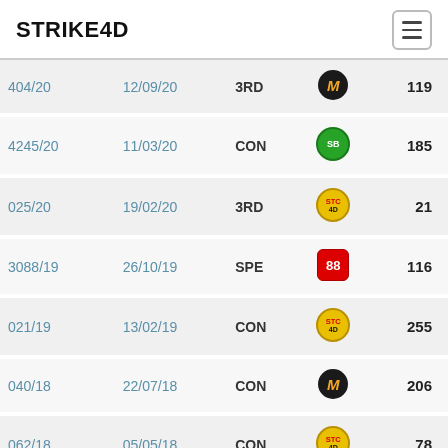STRIKE4D
| Draw | Date | Prize | Operator | Number |
| --- | --- | --- | --- | --- |
| 404/20 | 12/09/20 | 3RD | Magnum | 119 |
| 4245/20 | 11/03/20 | CON | Sports Toto | 185 |
| 025/20 | 19/02/20 | 3RD | STC 4D | 21 |
| 3088/19 | 26/10/19 | SPE | 88 | 116 |
| 021/19 | 13/02/19 | CON | STC 4D | 255 |
| 040/18 | 22/07/18 | CON | Magnum | 206 |
| 062/18 | 05/05/18 | CON | STC 4D | 78 |